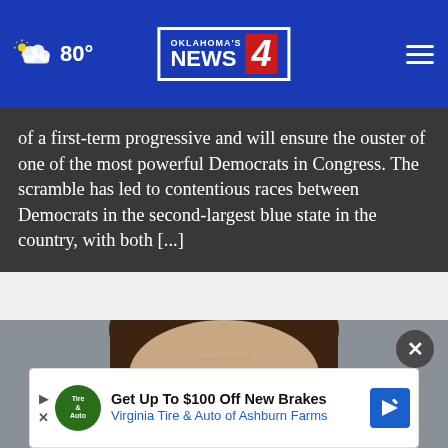Oklahoma's News 4 | 80°
of a first-term progressive and will ensure the ouster of one of the most powerful Democrats in Congress. The scramble has led to contentious races between Democrats in the second-largest blue state in the country, with both [...]
[Figure (photo): Close-up portrait photo of a woman with dark hair pulled back, looking slightly upward, against a gray background]
Get Up To $100 Off New Brakes Virginia Tire & Auto of Ashburn Farms